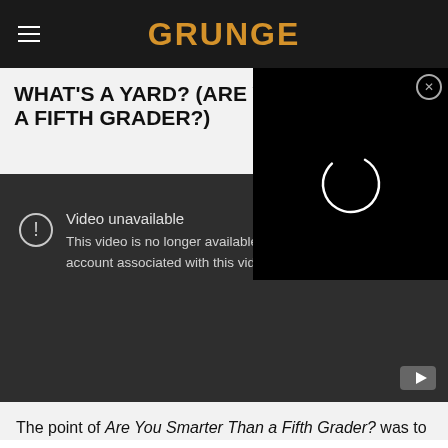GRUNGE
WHAT'S A YARD? (ARE Y... A FIFTH GRADER?)
[Figure (screenshot): Video player overlay showing a loading spinner ring on black background with a close (X) button]
[Figure (screenshot): YouTube video unavailable message: 'Video unavailable. This video is no longer available because the YouTube account associated with this video has been terminated.']
The point of Are You Smarter Than a Fifth Grader? was to